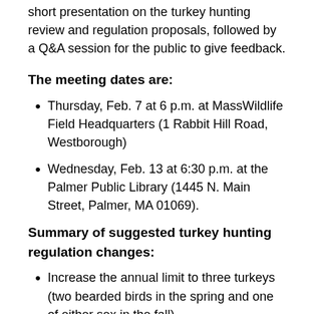short presentation on the turkey hunting review and regulation proposals, followed by a Q&A session for the public to give feedback.
The meeting dates are:
Thursday, Feb. 7 at 6 p.m. at MassWildlife Field Headquarters (1 Rabbit Hill Road, Westborough)
Wednesday, Feb. 13 at 6:30 p.m. at the Palmer Public Library (1445 N. Main Street, Palmer, MA 01069).
Summary of suggested turkey hunting regulation changes:
Increase the annual limit to three turkeys (two bearded birds in the spring and one of either sex in the fall).
Increase the daily bag limit to two per day during the